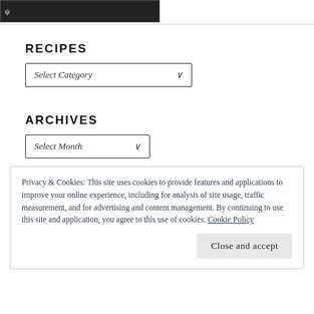[Figure (photo): Dark photo strip showing partial image with a fork/utensil icon overlay on dark background]
RECIPES
[Figure (other): Select Category dropdown widget]
ARCHIVES
[Figure (other): Select Month dropdown widget]
Privacy & Cookies: This site uses cookies to provide features and applications to improve your online experience, including for analysis of site usage, traffic measurement, and for advertising and content management. By continuing to use this site and application, you agree to this use of cookies. Cookie Policy